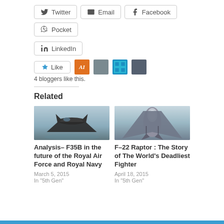[Figure (infographic): Social share buttons: Twitter, Email, Facebook, Pocket, LinkedIn]
[Figure (infographic): Like button with star icon and 4 blogger avatars: AI logo, airplane photo, blue grid icon, person photo]
4 bloggers like this.
Related
[Figure (photo): F-35B fighter jet flying over water, top-down slightly angled view]
Analysis– F35B in the future of the Royal Air Force and Royal Navy
March 5, 2015
In "5th Gen"
[Figure (photo): F-22 Raptor viewed from above and front, showing cockpit dome and engine intakes]
F–22 Raptor : The Story of The World's Deadliest Fighter
April 18, 2015
In "5th Gen"